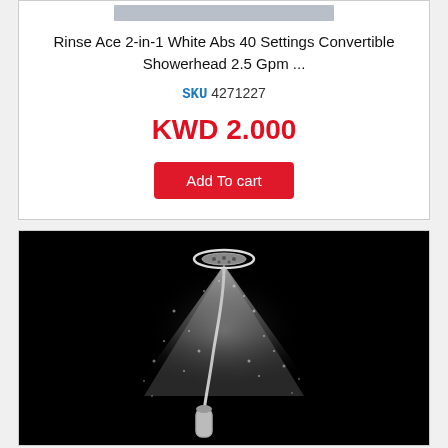[Figure (photo): Partial product image strip at very top of card (cropped, mostly hidden)]
Rinse Ace 2-in-1 White Abs 40 Settings Convertible Showerhead 2.5 Gpm ...
SKU 4271227
KWD 2.000
Add To cart
[Figure (photo): Black and white product photo of a convertible showerhead with two heads — a fixed overhead head and a handheld head connected by a hose — spraying water on a black background.]